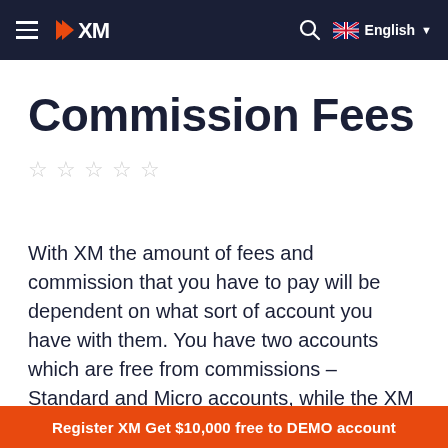XM — Commission Fees navigation bar
Commission Fees
[Figure (other): 5 empty star rating icons (no stars filled)]
With XM the amount of fees and commission that you have to pay will be dependent on what sort of account you have with them. You have two accounts which are free from commissions – Standard and Micro accounts, while the XM Zero account is based on commission.
Register XM Get $10,000 free to DEMO account